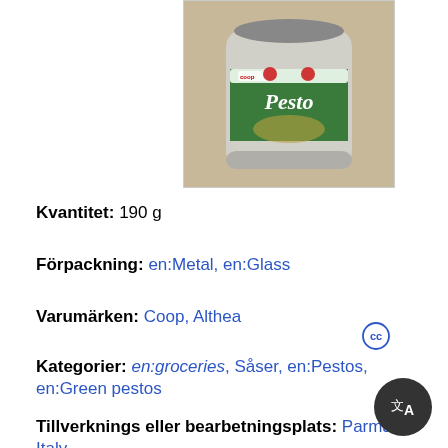[Figure (photo): A glass jar of Coop brand Pesto sauce with a green label showing the product name Pesto and decorative food imagery.]
Kvantitet: 190 g
Förpackning: en:Metal, en:Glass
Varumärken: Coop, Althea
Kategorier: en:groceries, Såser, en:Pestos, en:Green pestos
Tillverknings eller bearbetningsplats: Parma, Italy